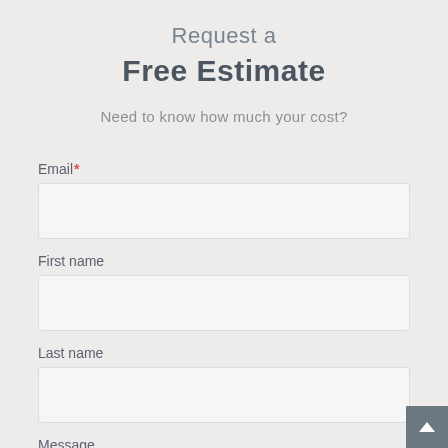Request a Free Estimate
Need to know how much your cost?
Email*
First name
Last name
Message